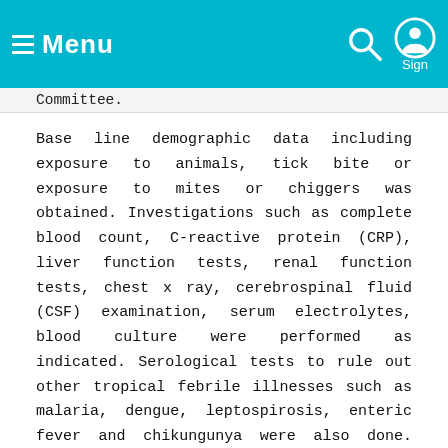Menu  Sign
Committee.
Base line demographic data including exposure to animals, tick bite or exposure to mites or chiggers was obtained. Investigations such as complete blood count, C-reactive protein (CRP), liver function tests, renal function tests, chest x ray, cerebrospinal fluid (CSF) examination, serum electrolytes, blood culture were performed as indicated. Serological tests to rule out other tropical febrile illnesses such as malaria, dengue, leptospirosis, enteric fever and chikungunya were also done. Serum creatine phosphokinase (CPK) levels, electrocardiography (ECG) and echocardiography were performed in children with congestive cardiac failure to rule out myocarditis. Weil Felix test was done as per